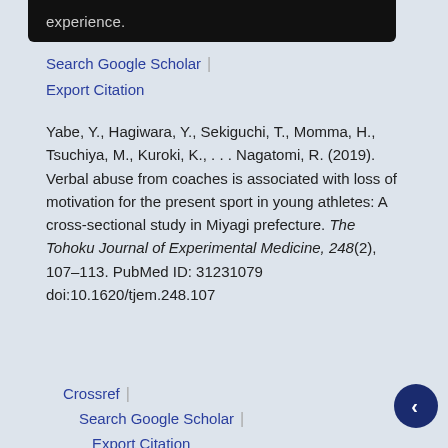experience.
Search Google Scholar | Export Citation
Yabe, Y., Hagiwara, Y., Sekiguchi, T., Momma, H., Tsuchiya, M., Kuroki, K., . . . Nagatomi, R. (2019). Verbal abuse from coaches is associated with loss of motivation for the present sport in young athletes: A cross-sectional study in Miyagi prefecture. The Tohoku Journal of Experimental Medicine, 248(2), 107–113. PubMed ID: 31231079 doi:10.1620/tjem.248.107
Crossref | Search Google Scholar | Export Citation